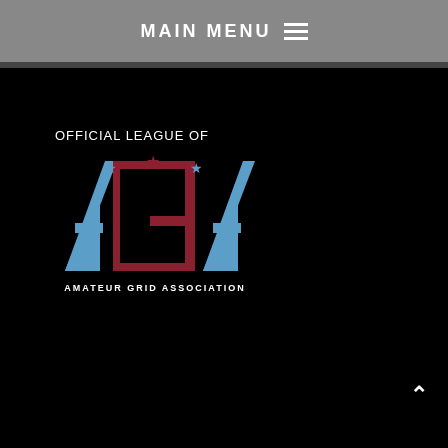MAIN MENU ☰
[Figure (logo): Amateur Grid Association (AGA) logo with text 'OFFICIAL LEAGUE OF' above it. The logo features stylized letters A, G, A in blue and dark red/maroon with stars, and 'AMATEUR GRID ASSOCIATION' text below.]
^